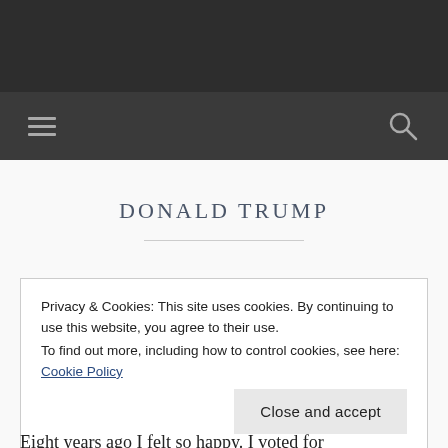DONALD TRUMP
Privacy & Cookies: This site uses cookies. By continuing to use this website, you agree to their use.
To find out more, including how to control cookies, see here:
Cookie Policy
Close and accept
Eight years ago I felt so happy. I voted for